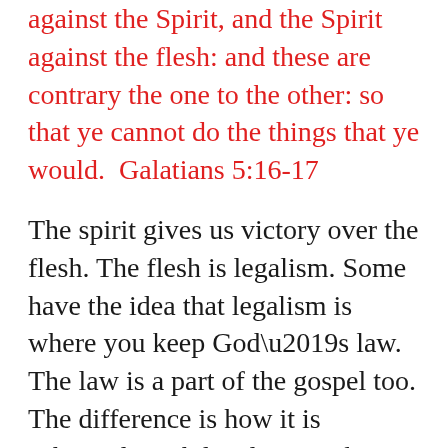against the Spirit, and the Spirit against the flesh: and these are contrary the one to the other: so that ye cannot do the things that ye would.  Galatians 5:16-17
The spirit gives us victory over the flesh. The flesh is legalism. Some have the idea that legalism is where you keep God’s law. The law is a part of the gospel too. The difference is how it is achieved. With legalism we keep the law by our own power for our own glory. With the gospel we keep the law by God’s power for His glory.
Galatians 4 made this clear. For it is written, that Abraham had two sons, the one by a bondmaid, the other by a freewoman. But he [who was] of the bondwoman was born after the flesh; but he of the freewoman [was] by promise. Which things are an